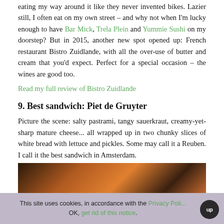eating my way around it like they never invented bikes. Lazier still, I often eat on my own street – and why not when I'm lucky enough to have Bar Mick, Trela Plein and Yummie Sushi on my doorstep? But in 2015, another new spot opened up: French restaurant Bistro Zuidlande, with all the over-use of butter and cream that you'd expect. Perfect for a special occasion – the wines are good too.
Read my full review of Bistro Zuidlande
9. Best sandwich: Piet de Gruyter
Picture the scene: salty pastrami, tangy sauerkraut, creamy-yet-sharp mature cheese... all wrapped up in two chunky slices of white bread with lettuce and pickles. Some may call it a Reuben. I call it the best sandwich in Amsterdam.
Read my full review of Piet de Gruyter
[Figure (photo): Partial photo of a sandwich, warm orange/brown tones, cropped at bottom of page]
This site uses cookies, in accordance with the Privacy Policy. OK, get rid of this notice.